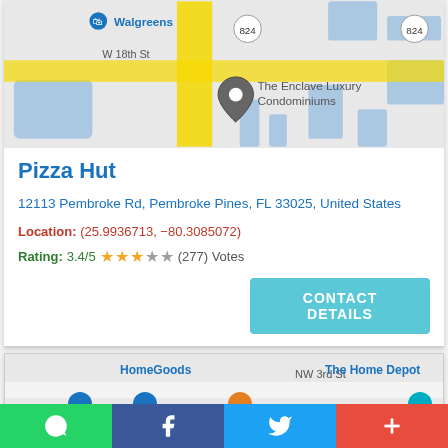[Figure (map): Google Maps screenshot showing The Enclave Luxury Condominiums location near W 18th St with Walgreens visible, road 824]
Pizza Hut
12113 Pembroke Rd, Pembroke Pines, FL 33025, United States
Location: (25.9936713, -80.3085072)
Rating: 3.4/5 ★★★☆☆ (277) Votes
[Figure (map): Google Maps screenshot showing HomeGoods and The Home Depot locations near NW 3rd St]